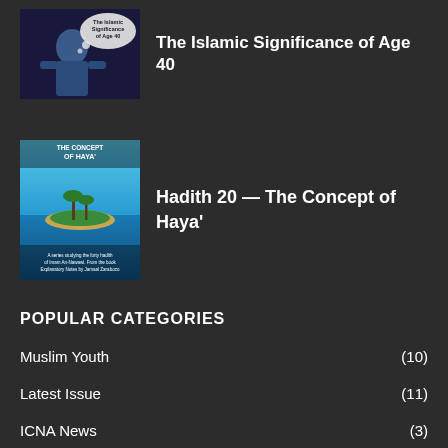[Figure (photo): Thumbnail image of a person with a thought bubble text 'The Islamic Significance of Age 40', person appears in blue clothing against dark background]
The Islamic Significance of Age 40
[Figure (photo): Book or magazine cover with title 'The Concept of Haya' showing a small tropical island in blue ocean water]
Hadith 20 — The Concept of Haya'
POPULAR CATEGORIES
Muslim Youth (10)
Latest Issue (11)
ICNA News (3)
Family (93)
Editorial (7)